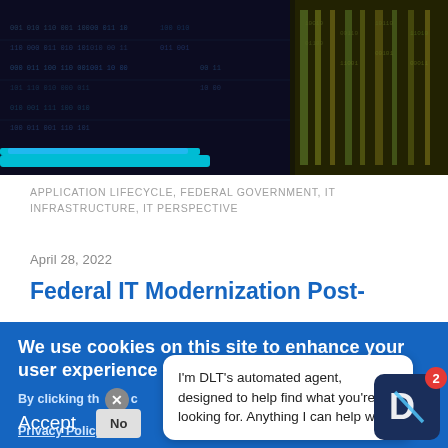[Figure (photo): Dark technology background with binary code, circuit board patterns, and blue/yellow/green color streaks representing digital infrastructure]
APPLICATION LIFECYCLE, FEDERAL GOVERNMENT, IT INFRASTRUCTURE, IT PERSPECTIVE
April 28, 2022
Federal IT Modernization Post-
We use cookies on this site to enhance your user experience
By clicking the [X] c... Privacy Policy
Accept   No...
I'm DLT's automated agent, designed to help find what you're looking for. Anything I can help with?